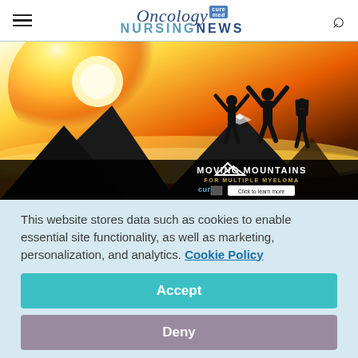Oncology NURSING NEWS
[Figure (illustration): Advertisement banner for 'Moving Mountains for Multiple Myeloma'. Three silhouetted people stand on a mountain peak with arms raised, backlit by a bright golden sunrise with clouds below. Bottom bar contains the Moving Mountains logo, cure logo, an icon, and a 'Click to learn more' button.]
This website stores data such as cookies to enable essential site functionality, as well as marketing, personalization, and analytics. Cookie Policy
Accept
Deny